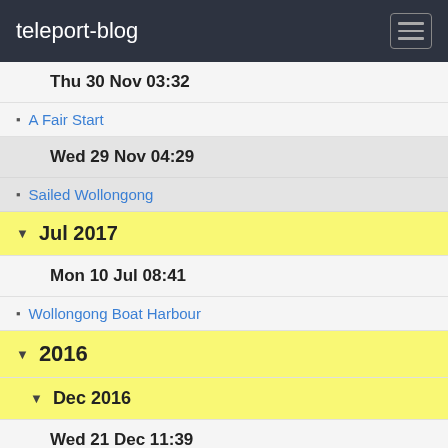teleport-blog
Thu 30 Nov 03:32
A Fair Start
Wed 29 Nov 04:29
Sailed Wollongong
Jul 2017
Mon 10 Jul 08:41
Wollongong Boat Harbour
2016
Dec 2016
Wed 21 Dec 11:39
Arrived Greenwell Point
Looking Good for Christmas
Tue 20 Dec 04:10
Departed Eden
Sun 18 Dec 22:55